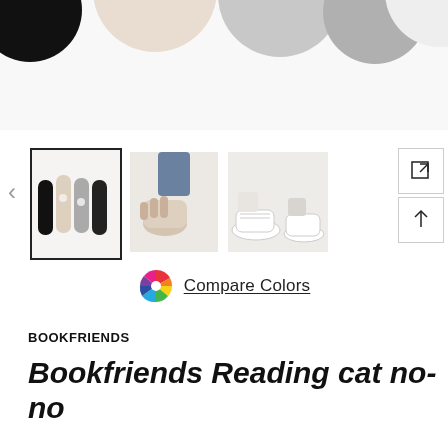[Figure (photo): Top portion of product image showing multiple no-show sock pairs laid flat in black, beige, gray, and white colors on a white background.]
[Figure (photo): Thumbnail strip with three product photos: (1) four socks laid flat showing cat face embroidery, (2) close-up of someone putting on a beige no-show sock, (3) person wearing white sneakers with no-show socks visible. Side controls with expand and up arrow buttons.]
[Figure (infographic): Compare Colors button with multicolor circle icon and underlined text.]
BOOKFRIENDS
Bookfriends Reading cat no-no